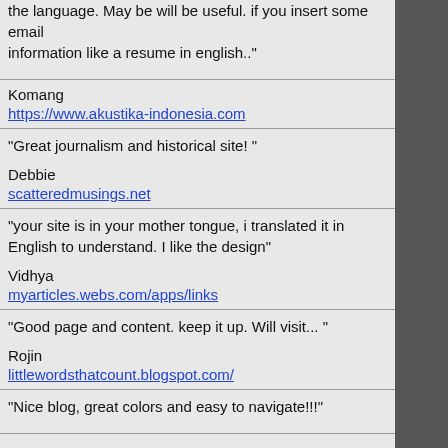the language. May be will be useful. if you insert some email information like a resume in english.."
Komang
https://www.akustika-indonesia.com
"Great journalism and historical site! "
Debbie
scatteredmusings.net
"your site is in your mother tongue, i translated it in English to understand. I like the design"
Vidhya
myarticles.webs.com/apps/links
"Good page and content. keep it up. Will visit... "
Rojin
littlewordsthatcount.blogspot.com/
"Nice blog, great colors and easy to navigate!!!"